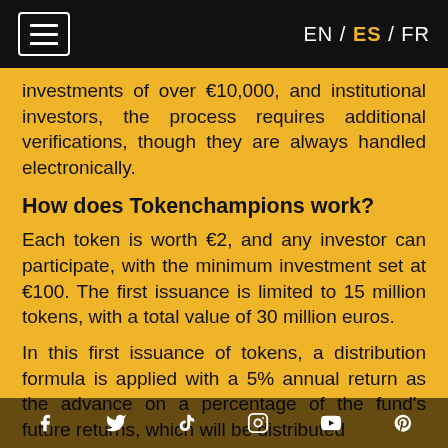EN / ES / FR
investments of over €10,000, and institutional investors, the process requires additional verifications, though they are always handled electronically.
How does Tokenchampions work?
Each token is worth €2, and any investor can participate, with the minimum investment set at €100. The first issuance is limited to 15 million tokens, with a total value of 30 million euros.
In this first issuance of tokens, a distribution formula is applied with a 5% annual return as the advance on a percentage of the fund's future returns, which will be distributed...
Social media icons: Facebook, Twitter, TikTok, Instagram, YouTube, Pinterest